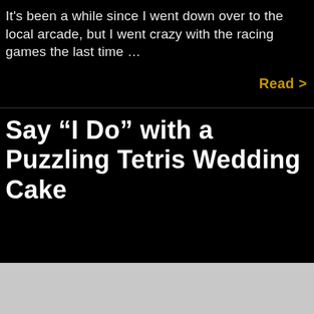It's been a while since I went down over to the local arcade, but I went crazy with the racing games the last time …
Read >
Say “I Do” with a Puzzling Tetris Wedding Cake